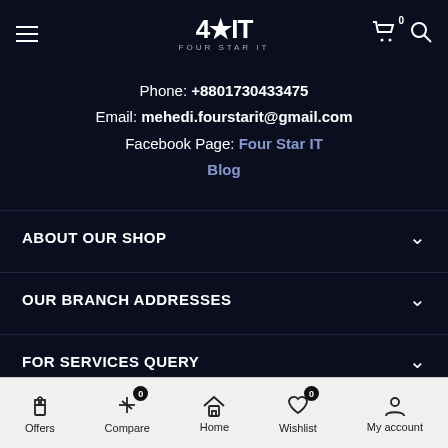Four Star IT navigation bar with logo, cart and search
Phone: +8801730433475
Email: mehedi.fourstarit@gmail.com
Facebook Page: Four Star IT
Blog
ABOUT OUR SHOP
OUR BRANCH ADDRESSES
FOR SERVICES QUERY
FOR SALES QUERY
Offers  Compare 0  Home  Wishlist 0  My account